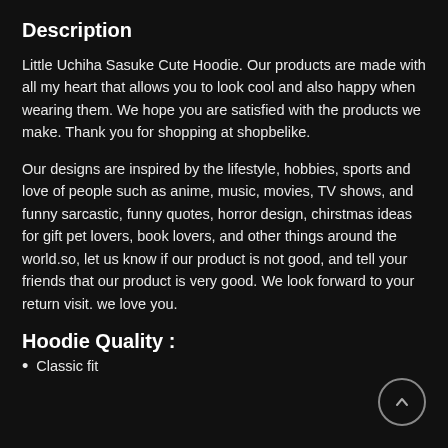Description
Little Uchiha Sasuke Cute Hoodie. Our products are made with all my heart that allows you to look cool and also happy when wearing them. We hope you are satisfied with the products we make. Thank you for shopping at shopbelike.
Our designs are inspired by the lifestyle, hobbies, sports and love of people such as anime, music, movies, TV shows, and funny sarcastic, funny quotes, horror design, chirstmas ideas for gift pet lovers, book lovers, and other things around the world.so, let us know if our product is not good, and tell your friends that our product is very good. We look forward to your return visit. we love you.
Hoodie Quality :
Classic fit